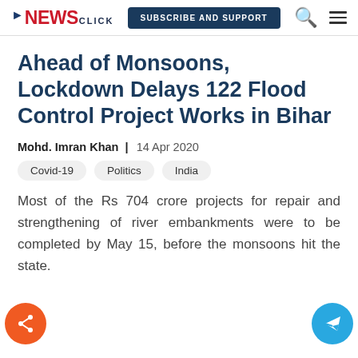NewsClick | SUBSCRIBE AND SUPPORT
Ahead of Monsoons, Lockdown Delays 122 Flood Control Project Works in Bihar
Mohd. Imran Khan | 14 Apr 2020
Covid-19
Politics
India
Most of the Rs 704 crore projects for repair and strengthening of river embankments were to be completed by May 15, before the monsoons hit the state.